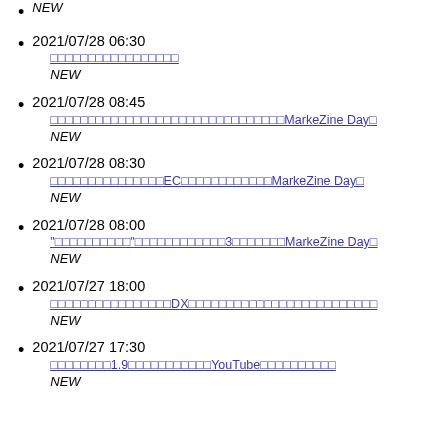NEW (top, partial)
2021/07/28 06:30 [link] NEW
2021/07/28 08:45 [link MarkeZine Day] NEW
2021/07/28 08:30 [link EC...MarkeZine Day] NEW
2021/07/28 08:00 ['...' 3... MarkeZine Day] NEW
2021/07/27 18:00 [link DX...] NEW
2021/07/27 17:30 [link 1.9...YouTube...] NEW